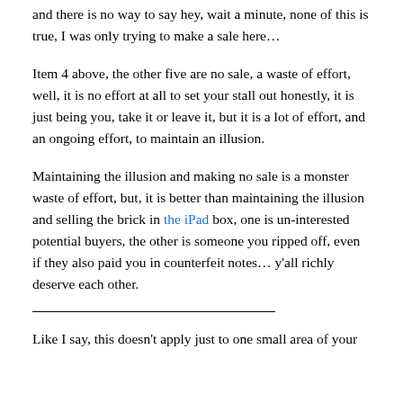and there is no way to say hey, wait a minute, none of this is true, I was only trying to make a sale here…
Item 4 above, the other five are no sale, a waste of effort, well, it is no effort at all to set your stall out honestly, it is just being you, take it or leave it, but it is a lot of effort, and an ongoing effort, to maintain an illusion.
Maintaining the illusion and making no sale is a monster waste of effort, but, it is better than maintaining the illusion and selling the brick in the iPad box, one is un-interested potential buyers, the other is someone you ripped off, even if they also paid you in counterfeit notes… y'all richly deserve each other.
Like I say, this doesn't apply just to one small area of your